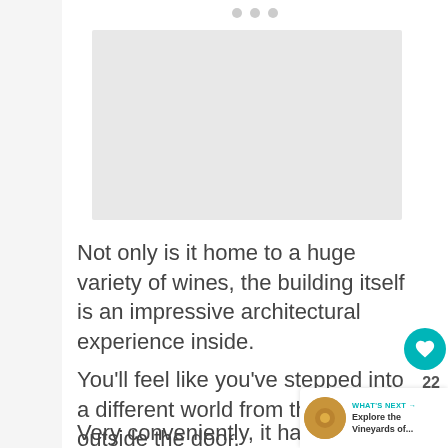[Figure (other): Image placeholder area with carousel dots at top]
Not only is it home to a huge variety of wines, the building itself is an impressive architectural experience inside.
You'll feel like you've stepped into a different world from the Amman outside the door.
Very conveniently, it has a superb